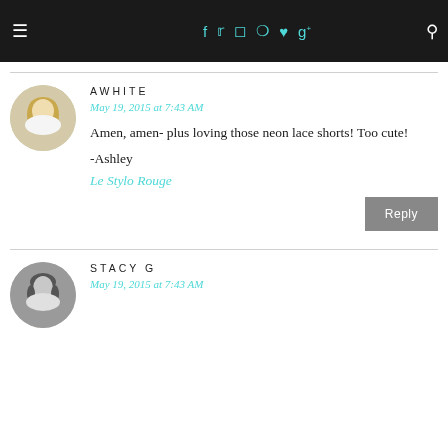Navigation bar with menu, social icons (f, Twitter, Instagram, Pinterest, heart, g+), and search
AWHITE
May 19, 2015 at 7:43 AM
Amen, amen- plus loving those neon lace shorts! Too cute!

-Ashley
Le Stylo Rouge
Reply
STACY G
May 19, 2015 at 7:43 AM